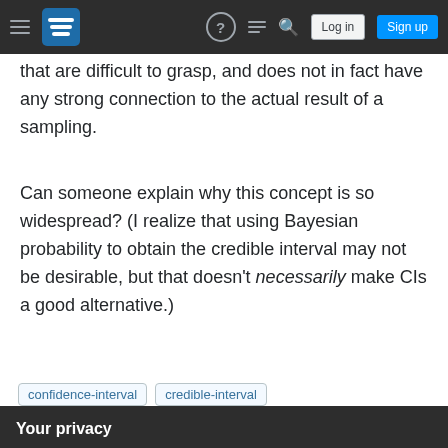Stack Exchange navigation bar with logo, help, chat, search, Log in, Sign up
that are difficult to grasp, and does not in fact have any strong connection to the actual result of a sampling.
Can someone explain why this concept is so widespread? (I realize that using Bayesian probability to obtain the credible interval may not be desirable, but that doesn't necessarily make CIs a good alternative.)
confidence-interval
credible-interval
Your privacy
By clicking "Accept all cookies", you agree Stack Exchange can store cookies on your device and disclose information in accordance with our Cookie Policy.
Accept all cookies | Customize settings